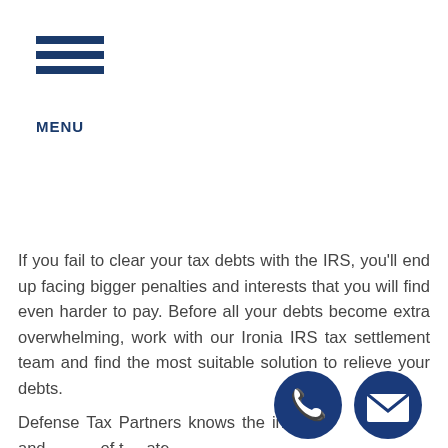[Figure (other): Hamburger menu icon with three horizontal dark blue bars and MENU label below]
If you fail to clear your tax debts with the IRS, you'll end up facing bigger penalties and interests that you will find even harder to pay. Before all your debts become extra overwhelming, work with our Ironia IRS tax settlement team and find the most suitable solution to relieve your debts.
Defense Tax Partners knows the ins and of the ate
[Figure (other): Blue circular phone icon button]
[Figure (other): Blue circular email/envelope icon button]